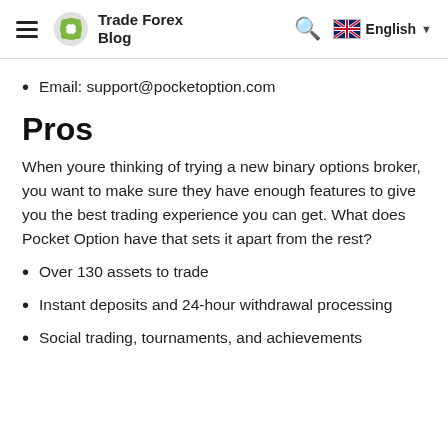Trade Forex Blog | English
Email: support@pocketoption.com
Pros
When youre thinking of trying a new binary options broker, you want to make sure they have enough features to give you the best trading experience you can get. What does Pocket Option have that sets it apart from the rest?
Over 130 assets to trade
Instant deposits and 24-hour withdrawal processing
Social trading, tournaments, and achievements